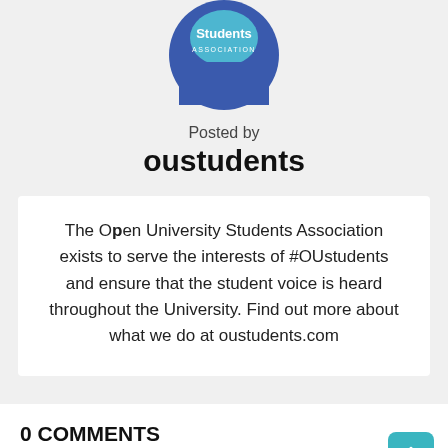[Figure (logo): Open University Students Association circular logo with blue background, speech bubble icon and text 'Students ASSOCIATION' in white]
Posted by
oustudents
The Open University Students Association exists to serve the interests of #OUstudents and ensure that the student voice is heard throughout the University. Find out more about what we do at oustudents.com
0 COMMENTS
You must be logged in to post a comment